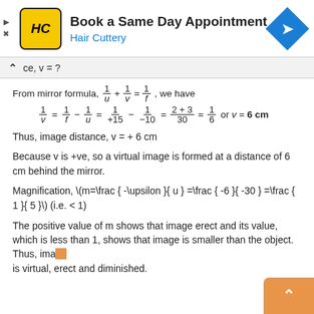[Figure (other): Hair Cuttery advertisement banner with logo, text 'Book a Same Day Appointment', 'Hair Cuttery', and navigation icon]
ce, v = ?
From mirror formula, 1/u + 1/v = 1/f, we have
Thus, image distance, v = + 6 cm
Because v is +ve, so a virtual image is formed at a distance of 6 cm behind the mirror.
Magnification, \(m=\frac { -\upsilon }{ u } =\frac { -6 }{ -30 } =\frac { 1 }{ 5 }\) (i.e. < 1)
The positive value of m shows that image erect and its value, which is less than 1, shows that image is smaller than the object. Thus, image is virtual, erect and diminished.